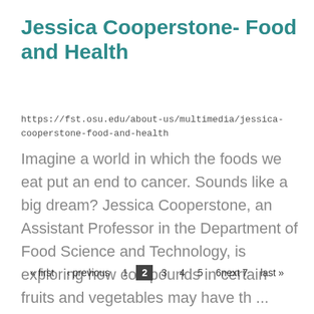Jessica Cooperstone- Food and Health
https://fst.osu.edu/about-us/multimedia/jessica-cooperstone-food-and-health
Imagine a world in which the foods we eat put an end to cancer. Sounds like a big dream? Jessica Cooperstone, an Assistant Professor in the Department of Food Science and Technology, is exploring how compounds in certain fruits and vegetables may have th ...
« first ‹ previous 1 2 3 4 5 6next 7 last »